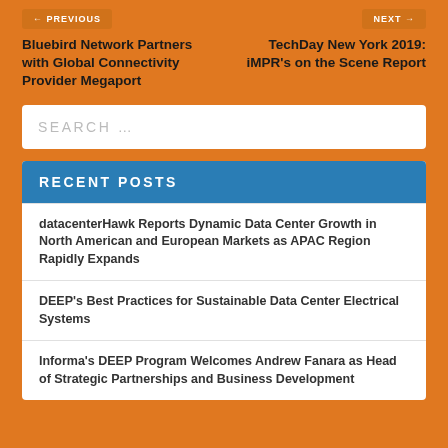← PREVIOUS
NEXT →
Bluebird Network Partners with Global Connectivity Provider Megaport
TechDay New York 2019: iMPR's on the Scene Report
SEARCH …
RECENT POSTS
datacenterHawk Reports Dynamic Data Center Growth in North American and European Markets as APAC Region Rapidly Expands
DEEP's Best Practices for Sustainable Data Center Electrical Systems
Informa's DEEP Program Welcomes Andrew Fanara as Head of Strategic Partnerships and Business Development